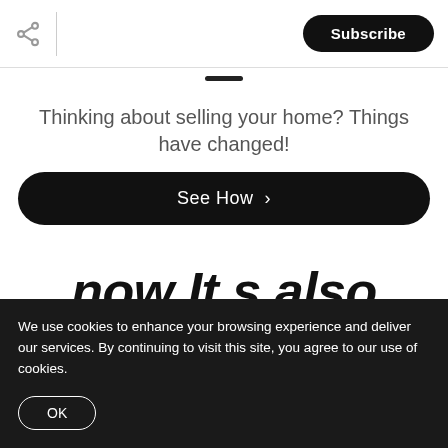Subscribe
Thinking about selling your home? Things have changed!
See How >
now It s also your office...
We use cookies to enhance your browsing experience and deliver our services. By continuing to visit this site, you agree to our use of cookies.
OK